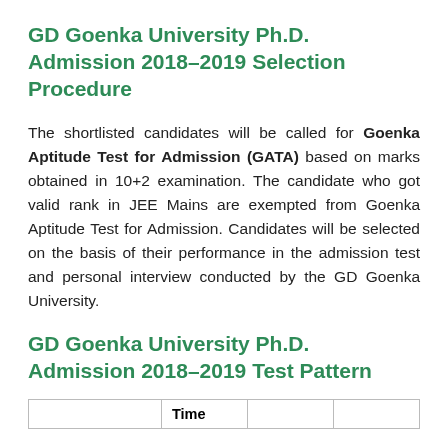GD Goenka University Ph.D. Admission 2018-2019 Selection Procedure
The shortlisted candidates will be called for Goenka Aptitude Test for Admission (GATA) based on marks obtained in 10+2 examination. The candidate who got valid rank in JEE Mains are exempted from Goenka Aptitude Test for Admission. Candidates will be selected on the basis of their performance in the admission test and personal interview conducted by the GD Goenka University.
GD Goenka University Ph.D. Admission 2018-2019 Test Pattern
|  | Time |  |  |
| --- | --- | --- | --- |